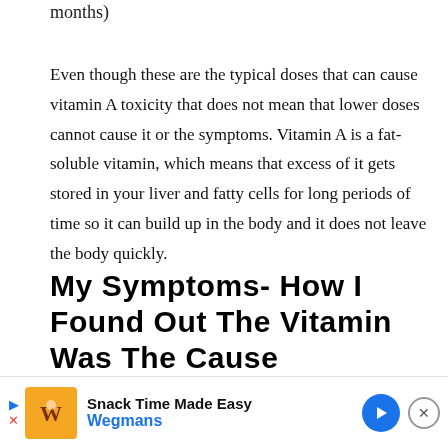months)
Even though these are the typical doses that can cause vitamin A toxicity that does not mean that lower doses cannot cause it or the symptoms. Vitamin A is a fat-soluble vitamin, which means that excess of it gets stored in your liver and fatty cells for long periods of time so it can build up in the body and it does not leave the body quickly.
My Symptoms- How I Found Out The Vitamin Was The Cause
Durin
[Figure (other): Advertisement banner for Wegmans: Snack Time Made Easy, with play/close buttons, orange logo, navigation arrow icon, and close button.]